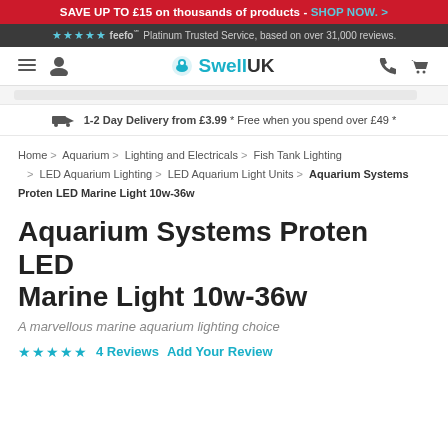SAVE UP TO £15 on thousands of products - SHOP NOW. >
★★★★★ feefo℠ Platinum Trusted Service, based on over 31,000 reviews.
[Figure (logo): Swell UK logo with navigation icons (hamburger menu, user, phone, basket)]
1-2 Day Delivery from £3.99 * Free when you spend over £49 *
Home > Aquarium > Lighting and Electricals > Fish Tank Lighting > LED Aquarium Lighting > LED Aquarium Light Units > Aquarium Systems Proten LED Marine Light 10w-36w
Aquarium Systems Proten LED Marine Light 10w-36w
A marvellous marine aquarium lighting choice
★★★★★ 4 Reviews  Add Your Review